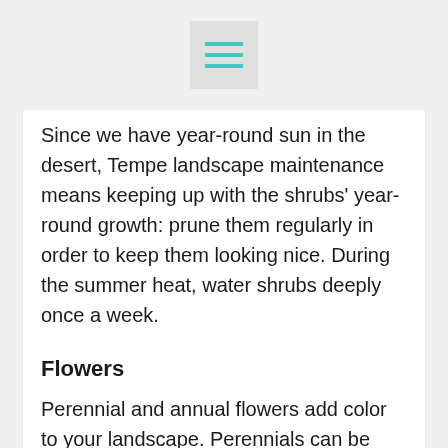[Figure (other): Hamburger menu icon with three teal/cyan horizontal lines on a light gray square background]
Since we have year-round sun in the desert, Tempe landscape maintenance means keeping up with the shrubs' year-round growth: prune them regularly in order to keep them looking nice. During the summer heat, water shrubs deeply once a week.
Flowers
Perennial and annual flowers add color to your landscape. Perennials can be planted in fall or in the spring. Annuals are planted mainly in the spring. During the growing